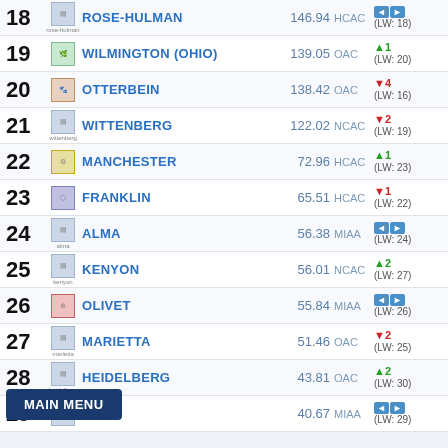| Rank | School | Score | Conference | Trend | Last Week |
| --- | --- | --- | --- | --- | --- |
| 18 | ROSE-HULMAN | 146.94 | HCAC | — | (LW: 18) |
| 19 | WILMINGTON (OHIO) | 139.05 | OAC | ▲1 | (LW: 20) |
| 20 | OTTERBEIN | 138.42 | OAC | ▼4 | (LW: 16) |
| 21 | WITTENBERG | 122.02 | NCAC | ▼2 | (LW: 19) |
| 22 | MANCHESTER | 72.96 | HCAC | ▲1 | (LW: 23) |
| 23 | FRANKLIN | 65.51 | HCAC | ▼1 | (LW: 22) |
| 24 | ALMA | 56.38 | MIAA | — | (LW: 24) |
| 25 | KENYON | 56.01 | NCAC | ▲2 | (LW: 27) |
| 26 | OLIVET | 55.84 | MIAA | — | (LW: 26) |
| 27 | MARIETTA | 51.46 | OAC | ▼2 | (LW: 25) |
| 28 | HEIDELBERG | 43.81 | OAC | ▲2 | (LW: 30) |
| 29 | ... | 40.67 | MIAA | — | (LW: 29) |